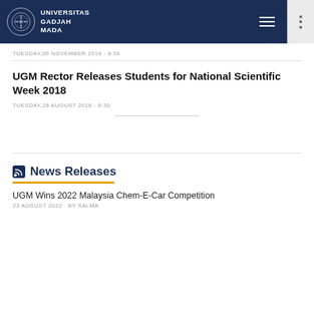UNIVERSITAS GADJAH MADA
TUESDAY,06 NOVEMBER 2018 - 8:56
UGM Rector Releases Students for National Scientific Week 2018
TUESDAY,28 AUGUST 2018 - 8:30
News Releases
UGM Wins 2022 Malaysia Chem-E-Car Competition
23 AUGUST 2022  BY SALMA